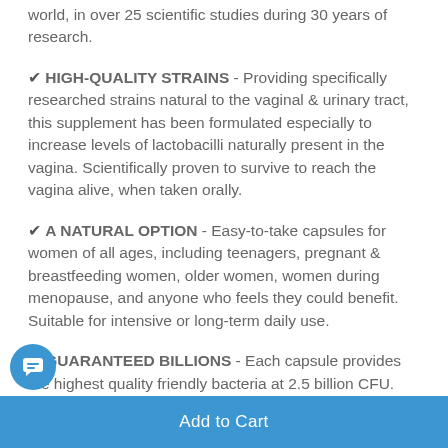world, in over 25 scientific studies during 30 years of research.
✔ HIGH-QUALITY STRAINS - Providing specifically researched strains natural to the vaginal & urinary tract, this supplement has been formulated especially to increase levels of lactobacilli naturally present in the vagina. Scientifically proven to survive to reach the vagina alive, when taken orally.
✔ A NATURAL OPTION - Easy-to-take capsules for women of all ages, including teenagers, pregnant & breastfeeding women, older women, women during menopause, and anyone who feels they could benefit. Suitable for intensive or long-term daily use.
✔ GUARANTEED BILLIONS - Each capsule provides the highest quality friendly bacteria at 2.5 billion CFU. The billions count is guaranteed until expiry date.
Add to Cart